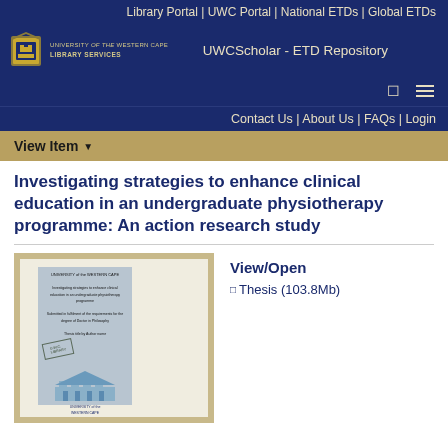Library Portal | UWC Portal | National ETDs | Global ETDs
[Figure (logo): University of the Western Cape Library Services shield logo with text 'UNIVERSITY of the WESTERN CAPE LIBRARY SERVICES' and UWCScholar - ETD Repository title]
Contact Us | About Us | FAQs | Login
View Item
Investigating strategies to enhance clinical education in an undergraduate physiotherapy programme: An action research study
[Figure (photo): Thumbnail of thesis cover page with University of the Western Cape branding, light blue cover with building illustration]
View/Open
Thesis (103.8Mb)